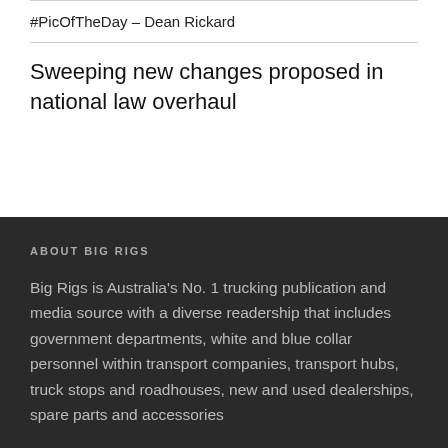#PicOfTheDay – Dean Rickard
Sweeping new changes proposed in national law overhaul
ABOUT BIG RIGS
Big Rigs is Australia's No. 1 trucking publication and media source with a diverse readership that includes government departments, white and blue collar personnel within transport companies, transport hubs, truck stops and roadhouses, new and used dealerships, spare parts and accessories